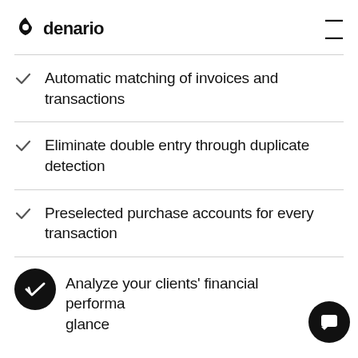denario
Automatic matching of invoices and transactions
Eliminate double entry through duplicate detection
Preselected purchase accounts for every transaction
Analyze your clients' financial performance at a glance